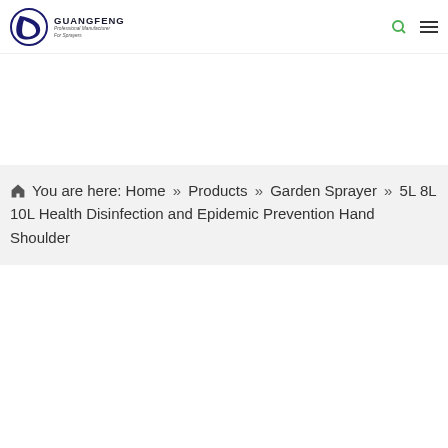[Figure (logo): Guangfeng logo with circular blue/white icon and text 'GUANGFENG Professional Manufacturer For Sprayers']
You are here:  Home » Products » Garden Sprayer » 5L 8L 10L Health Disinfection and Epidemic Prevention Hand Shoulder